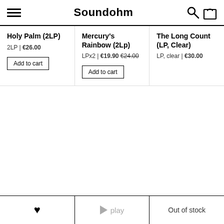Soundohm
Holy Palm (2LP)
2LP | €26.00
Add to cart
Mercury's Rainbow (2Lp)
LPx2 | €19.90 €24.00
Add to cart
The Long Count (LP, Clear)
LP, clear | €30.00
♥  ▶ play  Out of stock